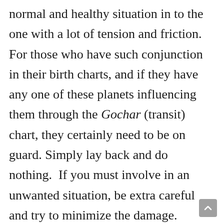normal and healthy situation in to the one with a lot of tension and friction. For those who have such conjunction in their birth charts, and if they have any one of these planets influencing them through the Gochar (transit) chart, they certainly need to be on guard. Simply lay back and do nothing.  If you must involve in an unwanted situation, be extra careful and try to minimize the damage. Experiences like fire burns, rape, accidents, theft, loss of precious things, and monetary disasters are real possibilities.

On the world scene, a short term but very